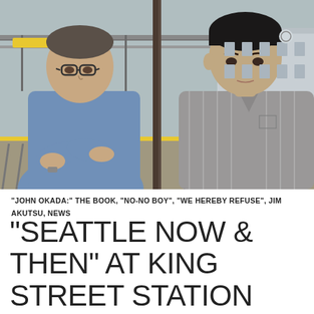[Figure (photo): Two men standing at a train station platform (King Street Station). The man on the left is older, wearing glasses and a blue button-up shirt with arms crossed. The man on the right is younger, wearing a grey striped button-up shirt. Railroad tracks and platform infrastructure visible in the background.]
"JOHN OKADA:" THE BOOK, "NO-NO BOY", "WE HEREBY REFUSE", JIM AKUTSU, NEWS
"SEATTLE NOW & THEN" AT KING STREET STATION